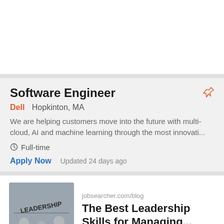Software Engineer
Dell   Hopkinton, MA
We are helping customers move into the future with multi-cloud, AI and machine learning through the most innovati...
Full-time
Apply Now   Updated 24 days ago
jobsearcher.com/blog
The Best Leadership Skills for Managing...
Senior Java Software Engineer